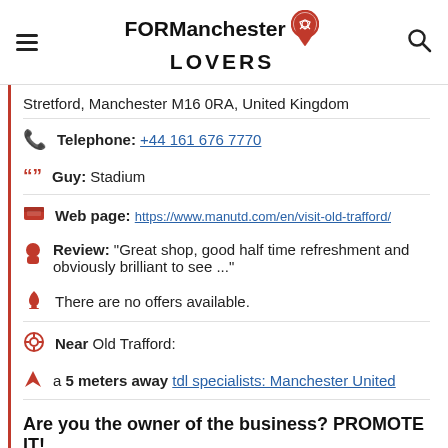FOR Manchester LOVERS
Stretford, Manchester M16 0RA, United Kingdom
Telephone: +44 161 676 7770
Guy: Stadium
Web page: https://www.manutd.com/en/visit-old-trafford/
Review: "Great shop, good half time refreshment and obviously brilliant to see ..."
There are no offers available.
Near Old Trafford:
a 5 meters away tdl specialists: Manchester United
Are you the owner of the business? PROMOTE IT!